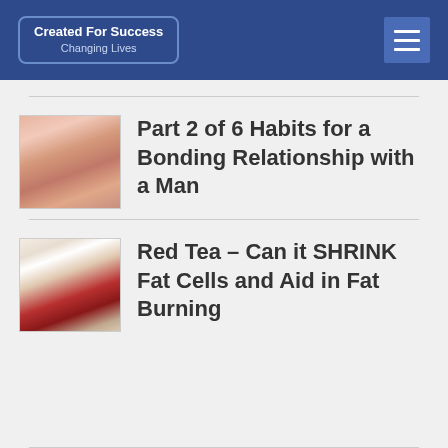Created For Success
Changing Lives
Part 2 of 6 Habits for a Bonding Relationship with a Man
Red Tea – Can it SHRINK Fat Cells and Aid in Fat Burning